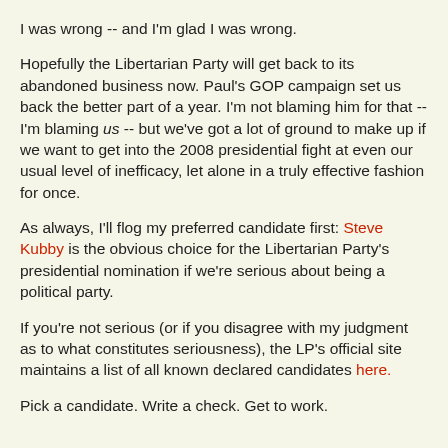I was wrong -- and I'm glad I was wrong.
Hopefully the Libertarian Party will get back to its abandoned business now. Paul's GOP campaign set us back the better part of a year. I'm not blaming him for that -- I'm blaming us -- but we've got a lot of ground to make up if we want to get into the 2008 presidential fight at even our usual level of inefficacy, let alone in a truly effective fashion for once.
As always, I'll flog my preferred candidate first: Steve Kubby is the obvious choice for the Libertarian Party's presidential nomination if we're serious about being a political party.
If you're not serious (or if you disagree with my judgment as to what constitutes seriousness), the LP's official site maintains a list of all known declared candidates here.
Pick a candidate. Write a check. Get to work.